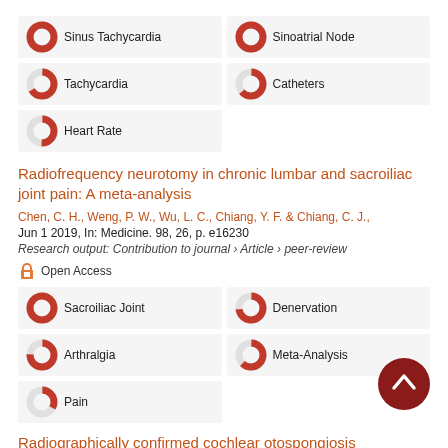Sinus Tachycardia
Sinoatrial Node
Tachycardia
Catheters
Heart Rate
Radiofrequency neurotomy in chronic lumbar and sacroiliac joint pain: A meta-analysis
Chen, C. H., Weng, P. W., Wu, L. C., Chiang, Y. F. & Chiang, C. J.,
Jun 1 2019, In: Medicine. 98, 26, p. e16230
Research output: Contribution to journal › Article › peer-review
Open Access
Sacroiliac Joint
Denervation
Arthralgia
Meta-Analysis
Pain
Radiographically confirmed cochlear otospongiosis among the Chinese